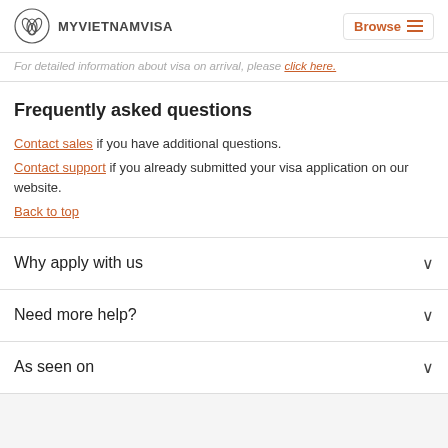MYVIETNAMVISA | Browse
For detailed information about visa on arrival, please click here.
Frequently asked questions
Contact sales if you have additional questions.
Contact support if you already submitted your visa application on our website.
Back to top
Why apply with us
Need more help?
As seen on